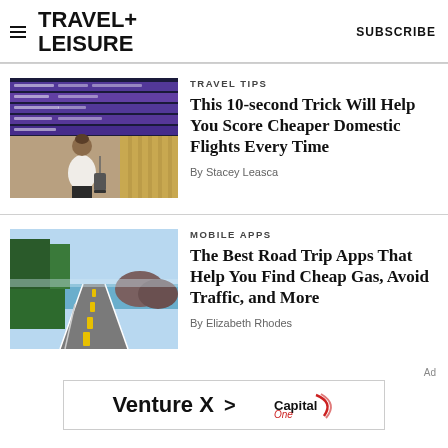TRAVEL+ LEISURE   SUBSCRIBE
[Figure (photo): Woman with luggage looking at airport departure board]
TRAVEL TIPS
This 10-second Trick Will Help You Score Cheaper Domestic Flights Every Time
By Stacey Leasca
[Figure (photo): Scenic coastal highway road trip]
MOBILE APPS
The Best Road Trip Apps That Help You Find Cheap Gas, Avoid Traffic, and More
By Elizabeth Rhodes
[Figure (other): Advertisement: Venture X Capital One credit card]